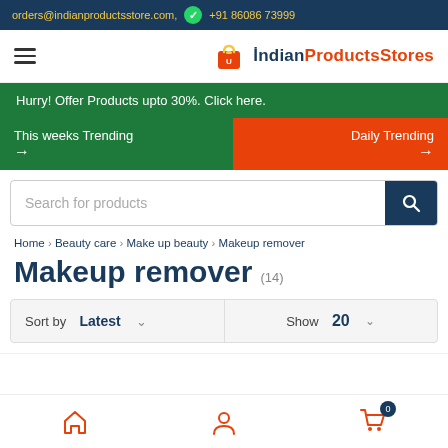orders@indianproductsstore.com,  +91 86086 73999
[Figure (logo): IndianProductsStores logo with shopping bag icon]
Hurry! Offer Products upto 30%. Click here.
This weeks Trending →
Daily Trending →
Search for products
Home › Beauty care › Make up beauty › Makeup remover
Makeup remover (14)
Sort by Latest ∨   Show 20 ∨
Home | Account | Cart (0)